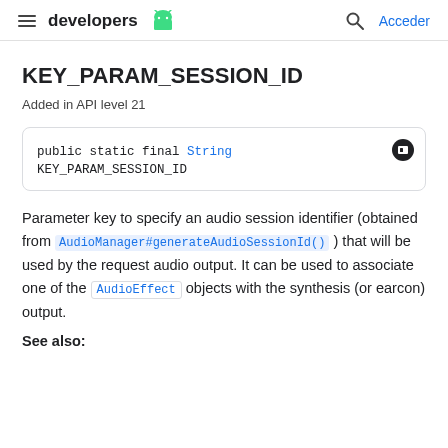developers | Acceder
KEY_PARAM_SESSION_ID
Added in API level 21
Parameter key to specify an audio session identifier (obtained from AudioManager#generateAudioSessionId() ) that will be used by the request audio output. It can be used to associate one of the AudioEffect objects with the synthesis (or earcon) output.
See also: